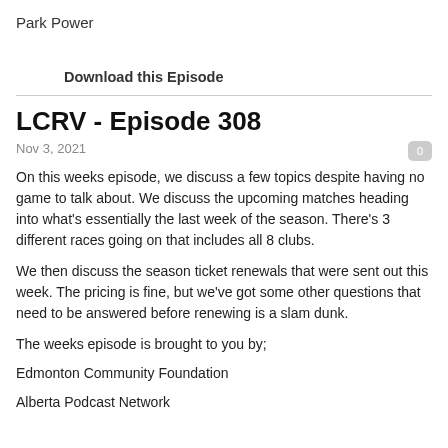Park Power
Download this Episode
LCRV - Episode 308
Nov 3, 2021
On this weeks episode, we discuss a few topics despite having no game to talk about. We discuss the upcoming matches heading into what's essentially the last week of the season. There's 3 different races going on that includes all 8 clubs.
We then discuss the season ticket renewals that were sent out this week. The pricing is fine, but we've got some other questions that need to be answered before renewing is a slam dunk.
The weeks episode is brought to you by;
Edmonton Community Foundation
Alberta Podcast Network